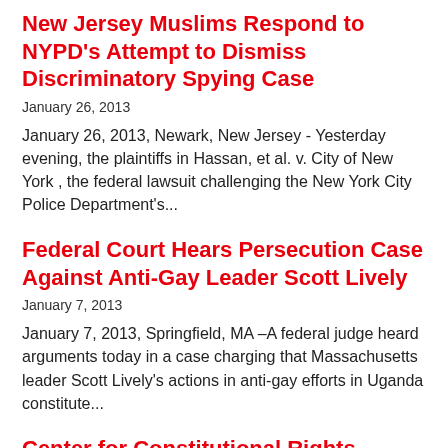New Jersey Muslims Respond to NYPD's Attempt to Dismiss Discriminatory Spying Case
January 26, 2013
January 26, 2013, Newark, New Jersey - Yesterday evening, the plaintiffs in Hassan, et al. v. City of New York , the federal lawsuit challenging the New York City Police Department's...
Federal Court Hears Persecution Case Against Anti-Gay Leader Scott Lively
January 7, 2013
January 7, 2013, Springfield, MA –A federal judge heard arguments today in a case charging that Massachusetts leader Scott Lively's actions in anti-gay efforts in Uganda constitute...
Center for Constitutional Rights Condemns Reintroduction of Ugandan Anti-Homosexuality